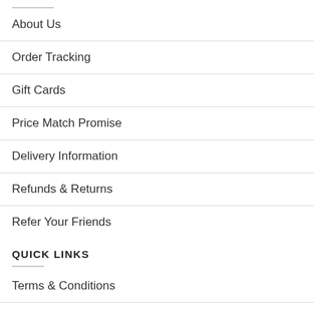About Us
Order Tracking
Gift Cards
Price Match Promise
Delivery Information
Refunds & Returns
Refer Your Friends
QUICK LINKS
Terms & Conditions
Privacy & Cookies